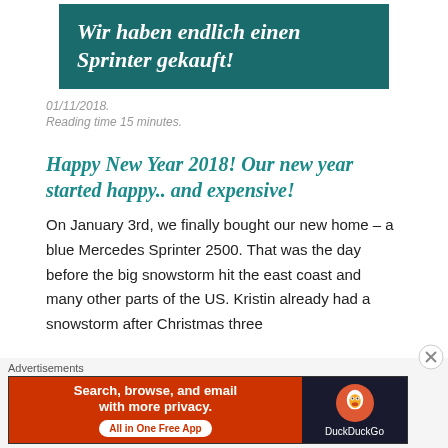Wir haben endlich einen Sprinter gekauft!
01/11/2018.
Reading time 15 minutes.
Happy New Year 2018! Our new year started happy.. and expensive!
On January 3rd, we finally bought our new home – a blue Mercedes Sprinter 2500. That was the day before the big snowstorm hit the east coast and many other parts of the US. Kristin already had a snowstorm after Christmas three
Advertisements
[Figure (screenshot): DuckDuckGo advertisement banner: orange/red left side with text 'Search, browse, and email with more privacy. All in One Free App' and dark right side with DuckDuckGo duck logo and brand name.]